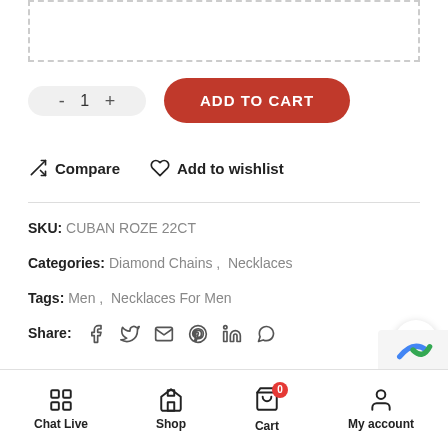[Figure (screenshot): E-commerce product page partial view showing quantity selector, Add to Cart button, Compare and Add to wishlist links, SKU, Categories, Tags, and Share row, plus mobile bottom navigation bar with Chat Live, Shop, Cart (badge 0), My account.]
SKU: CUBAN ROZE 22CT
Categories: Diamond Chains, Necklaces
Tags: Men, Necklaces For Men
Share:
Chat Live  Shop  Cart  My account